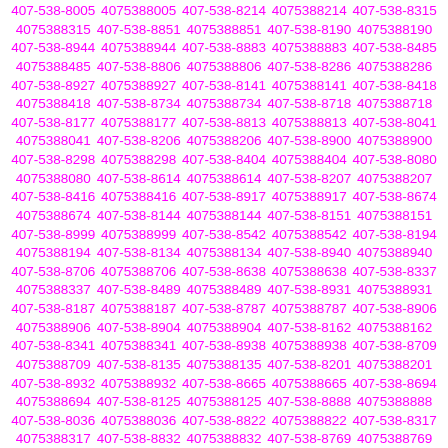407-538-8005 4075388005 407-538-8214 4075388214 407-538-8315 4075388315 407-538-8851 4075388851 407-538-8190 4075388190 407-538-8944 4075388944 407-538-8883 4075388883 407-538-8485 4075388485 407-538-8806 4075388806 407-538-8286 4075388286 407-538-8927 4075388927 407-538-8141 4075388141 407-538-8418 4075388418 407-538-8734 4075388734 407-538-8718 4075388718 407-538-8177 4075388177 407-538-8813 4075388813 407-538-8041 4075388041 407-538-8206 4075388206 407-538-8900 4075388900 407-538-8298 4075388298 407-538-8404 4075388404 407-538-8080 4075388080 407-538-8614 4075388614 407-538-8207 4075388207 407-538-8416 4075388416 407-538-8917 4075388917 407-538-8674 4075388674 407-538-8144 4075388144 407-538-8151 4075388151 407-538-8999 4075388999 407-538-8542 4075388542 407-538-8194 4075388194 407-538-8134 4075388134 407-538-8940 4075388940 407-538-8706 4075388706 407-538-8638 4075388638 407-538-8337 4075388337 407-538-8489 4075388489 407-538-8931 4075388931 407-538-8187 4075388187 407-538-8787 4075388787 407-538-8906 4075388906 407-538-8904 4075388904 407-538-8162 4075388162 407-538-8341 4075388341 407-538-8938 4075388938 407-538-8709 4075388709 407-538-8135 4075388135 407-538-8201 4075388201 407-538-8932 4075388932 407-538-8665 4075388665 407-538-8694 4075388694 407-538-8125 4075388125 407-538-8888 4075388888 407-538-8036 4075388036 407-538-8822 4075388822 407-538-8317 4075388317 407-538-8832 4075388832 407-538-8769 4075388769 407-538-8785 4075388785 407-538-8089 4075388089 407-538-8006